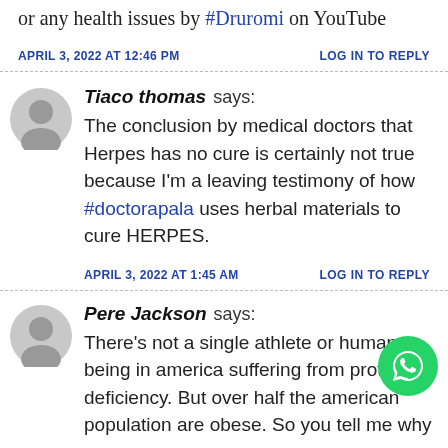or any health issues by #Druromi on YouTube
APRIL 3, 2022 AT 12:46 PM   LOG IN TO REPLY
Tiaco thomas says: The conclusion by medical doctors that Herpes has no cure is certainly not true because I'm a leaving testimony of how #doctorapala uses herbal materials to cure HERPES.
APRIL 3, 2022 AT 1:45 AM   LOG IN TO REPLY
Pere Jackson says: There's not a single athlete or human being in america suffering from prote deficiency. But over half the american population are obese. So you tell me why